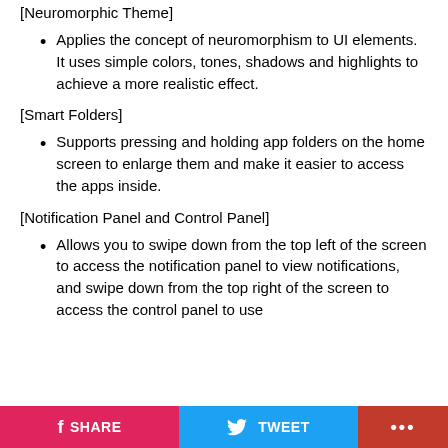[Neuromorphic Theme]
Applies the concept of neuromorphism to UI elements. It uses simple colors, tones, shadows and highlights to achieve a more realistic effect.
[Smart Folders]
Supports pressing and holding app folders on the home screen to enlarge them and make it easier to access the apps inside.
[Notification Panel and Control Panel]
Allows you to swipe down from the top left of the screen to access the notification panel to view notifications, and swipe down from the top right of the screen to access the control panel to use
SHARE   TWEET   ...